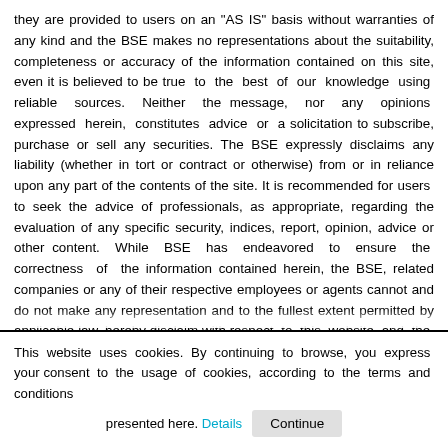they are provided to users on an "AS IS" basis without warranties of any kind and the BSE makes no representations about the suitability, completeness or accuracy of the information contained on this site, even it is believed to be true to the best of our knowledge using reliable sources. Neither the message, nor any opinions expressed herein, constitutes advice or a solicitation to subscribe, purchase or sell any securities. The BSE expressly disclaims any liability (whether in tort or contract or otherwise) from or in reliance upon any part of the contents of the site. It is recommended for users to seek the advice of professionals, as appropriate, regarding the evaluation of any specific security, indices, report, opinion, advice or other content. While BSE has endeavored to ensure the correctness of the information contained herein, the BSE, related companies or any of their respective employees or agents cannot and do not make any representation and to the fullest extent permitted by applicable law, hereby disclaim with respect to this website and the contents all express, implied and statutory warranties of any kind to users or any third party, including, but not limited to, representations and warranties regarding accuracy, timeliness, completeness, currentness, refresh frequency, reliability, noninfringement, merchantability or fitness for any particular purpose, or any representations or waranties arising from usage or custom or trade or by operation of law. Nor will they, to the extent permitted by law, be liable for any loss or damage arising in any way from, or in connection with, errors, delays or omissions in
This website uses cookies. By continuing to browse, you express your consent to the usage of cookies, according to the terms and conditions presented here. Details   Continue